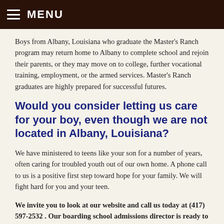≡ MENU
Boys from Albany, Louisiana who graduate the Master's Ranch program may return home to Albany to complete school and rejoin their parents, or they may move on to college, further vocational training, employment, or the armed services. Master's Ranch graduates are highly prepared for successful futures.
Would you consider letting us care for your boy, even though we are not located in Albany, Louisiana?
We have ministered to teens like your son for a number of years, often caring for troubled youth out of our own home. A phone call to us is a positive first step toward hope for your family. We will fight hard for you and your teen.
We invite you to look at our website and call us today at (417) 597-2532 . Our boarding school admissions director is ready to personally listen to your boy's history and discuss how we can